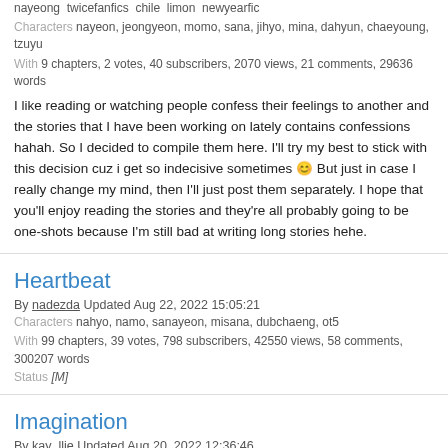nayeong twicefanfics chile limon newyearfic
Characters nayeon, jeongyeon, momo, sana, jihyo, mina, dahyun, chaeyoung, tzuyu
With 9 chapters, 2 votes, 40 subscribers, 2070 views, 21 comments, 29636 words
I like reading or watching people confess their feelings to another and the stories that I have been working on lately contains confessions hahah. So I decided to compile them here. I'll try my best to stick with this decision cuz i get so indecisive sometimes 😊 But just in case I really change my mind, then I'll just post them separately. I hope that you'll enjoy reading the stories and they're all probably going to be one-shots because I'm still bad at writing long stories hehe.
Heartbeat
By nadezda Updated Aug 22, 2022 15:05:21
Characters nahyo, namo, sanayeon, misana, dubchaeng, ot5
With 99 chapters, 39 votes, 798 subscribers, 42550 views, 58 comments, 300207 words
Status [M]
Imagination
By kay_llie Updated Aug 20, 2022 12:36:46
Tags fluff, collegeau, minayeon, myouiminaximnayeon